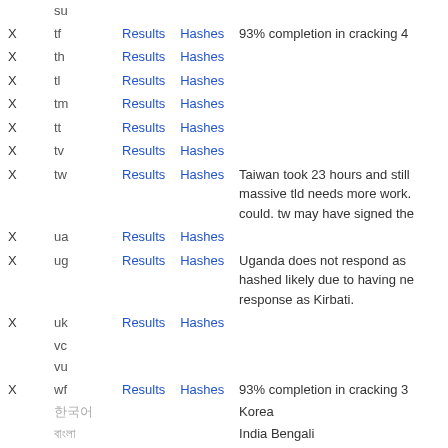|  | Code | Results | Hashes | Notes |
| --- | --- | --- | --- | --- |
|  | su |  |  |  |
| X | tf | Results | Hashes | 93% completion in cracking 4 |
| X | th | Results | Hashes |  |
| X | tl | Results | Hashes |  |
| X | tm | Results | Hashes |  |
| X | tt | Results | Hashes |  |
| X | tv | Results | Hashes |  |
| X | tw | Results | Hashes | Taiwan took 23 hours and still massive tld needs more work. could. tw may have signed the |
| X | ua | Results | Hashes |  |
| X | ug | Results | Hashes | Uganda does not respond as hashed likely due to having ne response as Kirbati. |
| X | uk | Results | Hashes |  |
|  | vc |  |  |  |
|  | vu |  |  |  |
| X | wf | Results | Hashes | 93% completion in cracking 3 |
|  | 한국어 |  |  | Korea |
|  | বাংলা |  |  | India Bengali |
| X | 中文 | Results | Hashes | China simplified |